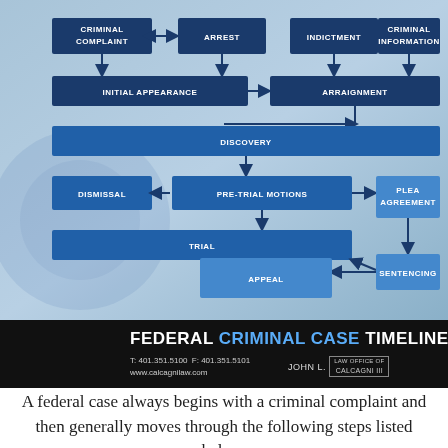[Figure (flowchart): Federal Criminal Case Timeline flowchart showing the stages: Criminal Complaint <-> Arrest, Indictment, Criminal Information -> Initial Appearance -> Arraignment -> Discovery -> Pre-Trial Motions (with Dismissal on left, Plea Agreement on right) -> Trial -> Sentencing -> Appeal]
FEDERAL CRIMINAL CASE TIMELINE — Law Office of John L. Calcagni III — T: 401.351.5100  F: 401.351.5101  www.calcagnilaw.com
A federal case always begins with a criminal complaint and then generally moves through the following steps listed below.
If you'd like more information check out the